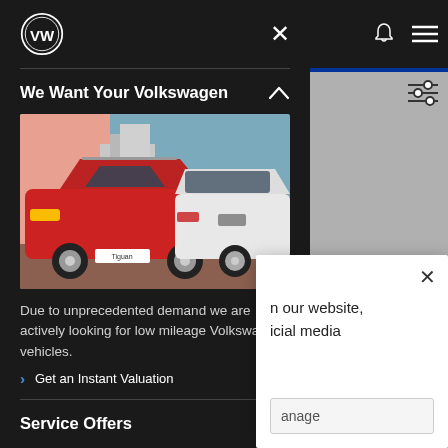[Figure (logo): Volkswagen circular logo in white on dark background]
We Want Your Volkswagen
[Figure (photo): Two Volkswagen SUVs side by side – a red VW Tiguan from the front-left and a white VW model from the rear-right, parked in an urban setting]
Due to unprecedented demand we are actively looking for low mileage Volkswagen vehicles.
> Get an Instant Valuation
Service Offers
[Figure (screenshot): Right panel showing a popup card with text 'our website, icial media' and an 'anage' input/button, plus navigation icons (bell, hamburger, sliders)]